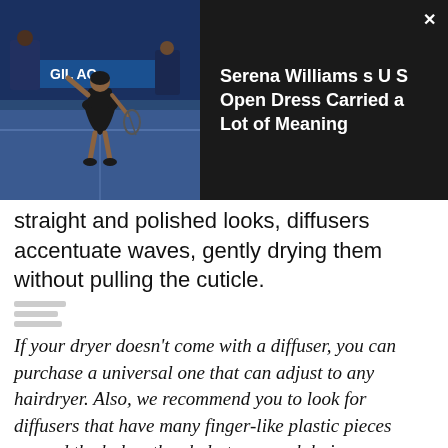[Figure (photo): Screenshot of a website showing a dark banner with a photo of Serena Williams at the US Open on the left, and article title text on the right with a close (X) button in the top-right corner.]
straight and polished looks, diffusers accentuate waves, gently drying them without pulling the cuticle.
If your dryer doesn't come with a diffuser, you can purchase a universal one that can adjust to any hairdryer. Also, we recommend you to look for diffusers that have many finger-like plastic pieces around the holes: they help to scrunch hair.
Check if the diffuser blows softly. Once you attach a diffuser to your hair dryer, you will see the airflow change to a softer mode. If it becomes much more gentle...